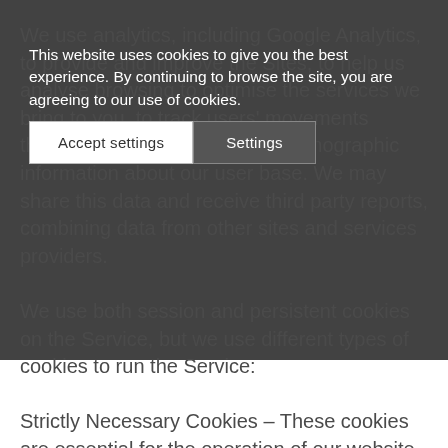We use analytics, including Google Analytics, to provide and improve the Sites, to help us analyse browsing to optimise the services we bring to you, to track users' movements through the Sites, and gather demographic information about our user base. We may share this data and receive third party reports, combining data from other sites and services providers.
[Figure (screenshot): Cookie consent banner overlay with text: 'This website uses cookies to give you the best experience. By continuing to browse the site, you are agreeing to our use of cookies.' with two buttons: 'Accept settings' and 'Settings']
We use both session and persistent cookies on the Service, but we use different types of cookies to run the Service:
Strictly Necessary Cookies – These cookies are essential for the operation of our website. They enable you to navigate the website and use all the features. They are used to manage and identify